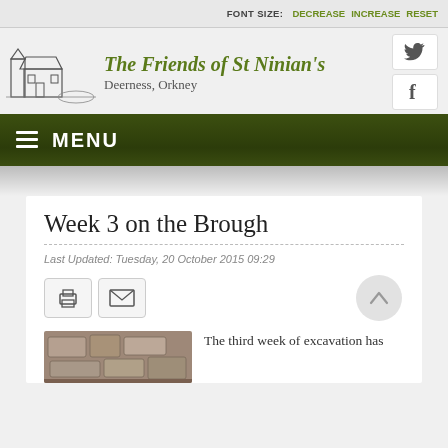FONT SIZE: DECREASE INCREASE RESET
[Figure (logo): Sketch illustration of St Ninian's church building in black and white]
The Friends of St Ninian's
Deerness, Orkney
[Figure (illustration): Twitter bird social media icon]
[Figure (illustration): Facebook 'f' social media icon]
≡ MENU
Week 3 on the Brough
Last Updated: Tuesday, 20 October 2015 09:29
[Figure (photo): Excavation site photograph showing stone archaeology at the Brough]
The third week of excavation has